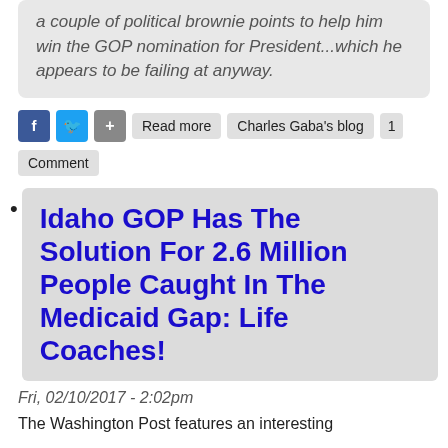a couple of political brownie points to help him win the GOP nomination for President...which he appears to be failing at anyway.
Read more  Charles Gaba's blog  1 Comment
Idaho GOP Has The Solution For 2.6 Million People Caught In The Medicaid Gap: Life Coaches!
Fri, 02/10/2017 - 2:02pm
The Washington Post features an interesting